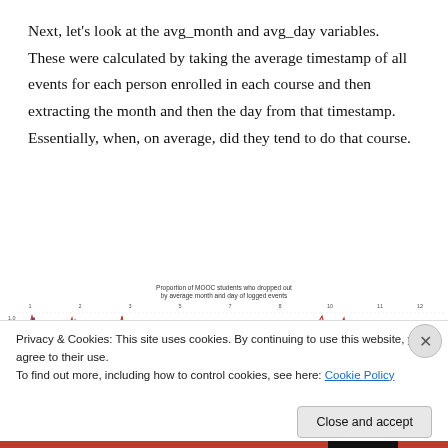Next, let's look at the avg_month and avg_day variables. These were calculated by taking the average timestamp of all events for each person enrolled in each course and then extracting the month and then the day from that timestamp. Essentially, when, on average, did they tend to do that course.
[Figure (continuous-plot): Small multiples line/scatter chart showing proportion of MOOC students who dropped out by average month (1-12) and day of logged events, with red and blue/purple lines per facet panel.]
Privacy & Cookies: This site uses cookies. By continuing to use this website, you agree to their use.
To find out more, including how to control cookies, see here: Cookie Policy